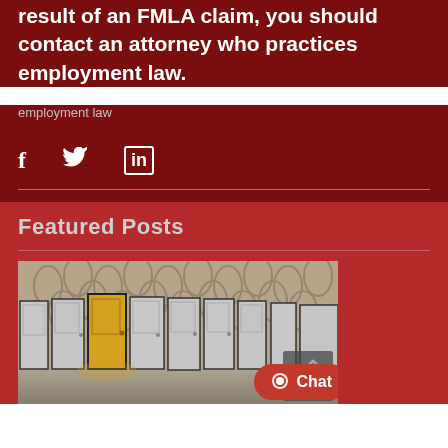result of an FMLA claim, you should contact an attorney who practices employment law.
employment law
[Figure (other): Social media share icons: Facebook (f), Twitter (bird), LinkedIn (in)]
Featured Posts
[Figure (photo): Photo of a row of grey doors with one yellow/gold door standing out, against a decorative wallpaper background with reflective floor]
[Figure (other): Chat button overlay with speech bubble icon and 'Chat' text]